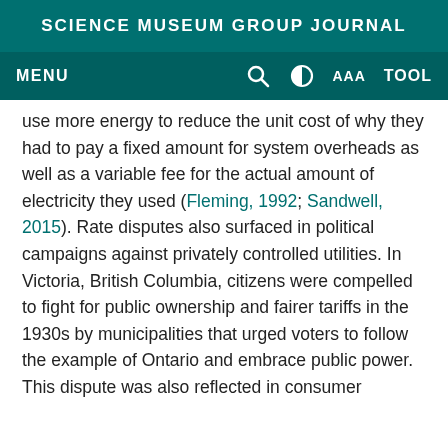SCIENCE MUSEUM GROUP JOURNAL
MENU
use more energy to reduce the unit cost of why they had to pay a fixed amount for system overheads as well as a variable fee for the actual amount of electricity they used (Fleming, 1992; Sandwell, 2015). Rate disputes also surfaced in political campaigns against privately controlled utilities. In Victoria, British Columbia, citizens were compelled to fight for public ownership and fairer tariffs in the 1930s by municipalities that urged voters to follow the example of Ontario and embrace public power. This dispute was also reflected in consumer complaint letters to the BCER, as in the case of a Victoria resident who could not comprehend why his friend, living only a short distance away in Vancouver, received such a low rate given similar electrical equipment and usage: 'I notice my bill last month was $11.40, and he